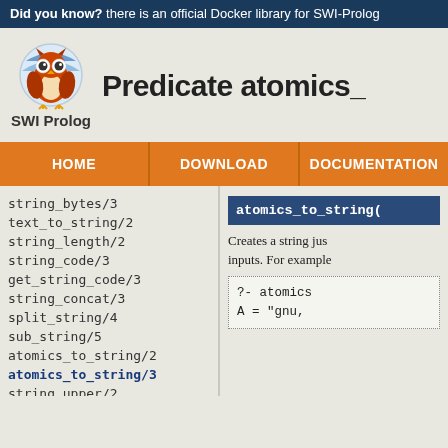Did you know? there is an official Docker library for SWI-Prolog
Predicate atomics_
[Figure (logo): SWI-Prolog owl logo with 'SWI Prolog' text beneath]
string_bytes/3
text_to_string/2
string_length/2
string_code/3
get_string_code/3
string_concat/3
split_string/4
sub_string/5
atomics_to_string/2
atomics_to_string/3
string_upper/2
string_lower/2
atomics_to_string(
Creates a string just inputs. For example
HOME | DOWNLOAD | DOCUMENTATION